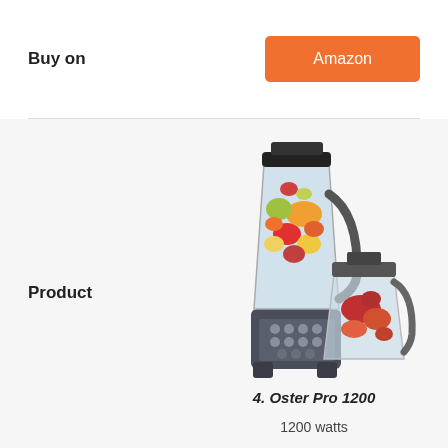Buy on
Amazon
Product
[Figure (photo): Oster Pro 1200 blender with food processor attachment, showing a large blender jar filled with fruits and a smaller food processor bowl with chopped vegetables, on a dark base with control buttons.]
4. Oster Pro 1200
1200 watts